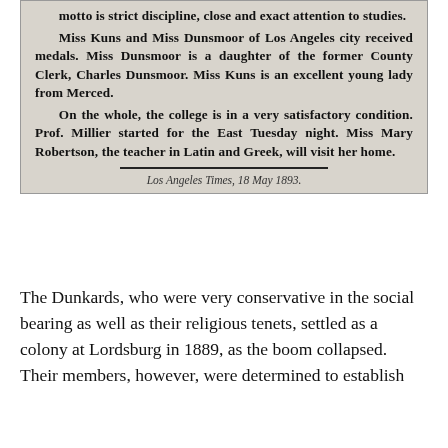[Figure (screenshot): Newspaper clipping from Los Angeles Times, 18 May 1893, discussing Miss Kuns and Miss Dunsmoor receiving medals, and the college being in a satisfactory condition.]
Los Angeles Times, 18 May 1893.
The Dunkards, who were very conservative in the social bearing as well as their religious tenets, settled as a colony at Lordsburg in 1889, as the boom collapsed. Their members, however, were determined to establish